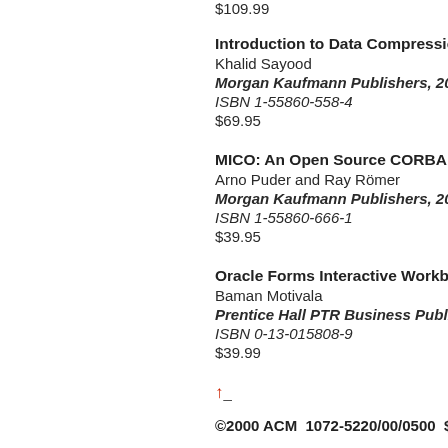$109.99
Introduction to Data Compression, 2e
Khalid Sayood
Morgan Kaufmann Publishers, 2000
ISBN 1-55860-558-4
$69.95
MICO: An Open Source CORBA Imp...
Arno Puder and Ray Römer
Morgan Kaufmann Publishers, 2000
ISBN 1-55860-666-1
$39.95
Oracle Forms Interactive Workbook
Baman Motivala
Prentice Hall PTR Business Publish...
ISBN 0-13-015808-9
$39.99
↑ -
©2000 ACM  1072-5220/00/0500  $5.0
Permission to make digital or hard cop... classroom use is granted without fee p... profit or commercial advantage and th...